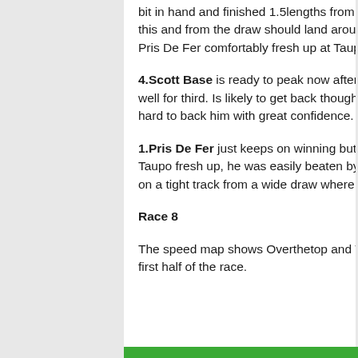bit in hand and finished 1.5lengths from the winner rating an FR of 112. She needs to rate 113 to win this and from the draw should land around 3 back inner again and the 1800m suits ideally. She beat Pris De Fer comfortably fresh up at Taupo and meets him 4kgs better off. RP $5, $8 FF
4.Scott Base  is ready to peak now after three runs back. Hit the front too soon last start and fought well for third. Is likely to get back though and with a moderate tempo likely on this tighter track, it is hard to back him with great confidence.
1.Pris De Fer just keeps on winning but it has all been right handed. His only start left handed at Taupo fresh up, he was easily beaten by Guillada and meets her 4kgs worse off.  This is a tough field on a tight track from a wide draw where he will need luck being topweight now. $2.80 is just too short.
Race 8
The speed map shows Overthetop and Torque Time sharing a moderate tempo suiting runners in the first half of the race.